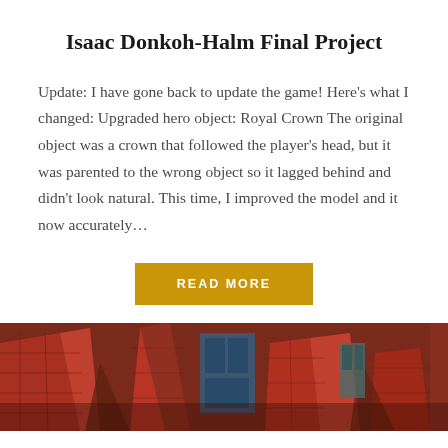Isaac Donkoh-Halm Final Project
Update: I have gone back to update the game! Here’s what I changed: Upgraded hero object: Royal Crown The original object was a crown that followed the player’s head, but it was parented to the wrong object so it lagged behind and didn’t look natural. This time, I improved the model and it now accurately…
[Figure (other): READ MORE button in golden/amber color]
[Figure (illustration): Screenshot of a 3D game environment with red/brick textured buildings and dark geometric structures]